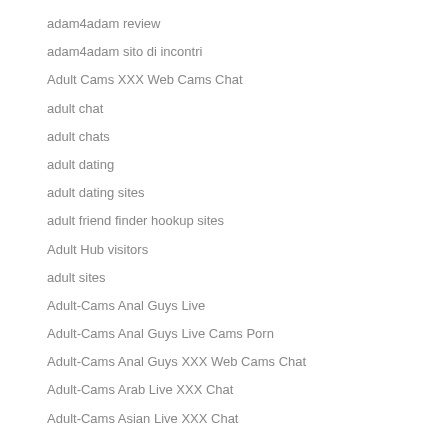adam4adam review
adam4adam sito di incontri
Adult Cams XXX Web Cams Chat
adult chat
adult chats
adult dating
adult dating sites
adult friend finder hookup sites
Adult Hub visitors
adult sites
Adult-Cams Anal Guys Live
Adult-Cams Anal Guys Live Cams Porn
Adult-Cams Anal Guys XXX Web Cams Chat
Adult-Cams Arab Live XXX Chat
Adult-Cams Asian Live XXX Chat